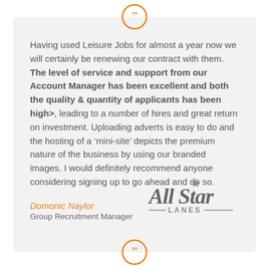[Figure (illustration): Orange circle with white quotation mark (closing double quote) icon at top of card]
Having used Leisure Jobs for almost a year now we will certainly be renewing our contract with them. The level of service and support from our Account Manager has been excellent and both the quality & quantity of applicants has been high>, leading to a number of hires and great return on investment. Uploading adverts is easy to do and the hosting of a 'mini-site' depicts the premium nature of the business by using our branded images. I would definitely recommend anyone considering signing up to go ahead and do so.
Domonic Naylor
Group Recruitment Manager
[Figure (logo): All Star Lanes logo in dark grey script lettering with decorative star and horizontal lines]
[Figure (illustration): Orange circle with white quotation mark icon at bottom of page (partially visible)]